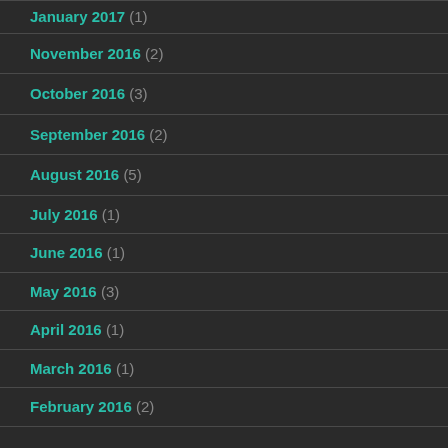January 2017 (1)
November 2016 (2)
October 2016 (3)
September 2016 (2)
August 2016 (5)
July 2016 (1)
June 2016 (1)
May 2016 (3)
April 2016 (1)
March 2016 (1)
February 2016 (2)